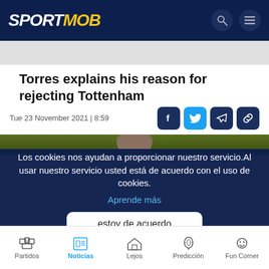SPORTMOB
Torres explains his reason for rejecting Tottenham
Tue 23 November 2021 | 8:59
[Figure (photo): Article image with green/dark background showing a person]
Los cookies nos ayudan a proporcionar nuestro servicio.Al usar nuestro servicio usted está de acuerdo con el uso de cookies.
Aprende más
estoy de acuerdo
Partidos | Noticias | Lejos | Predicción | Fun Corner